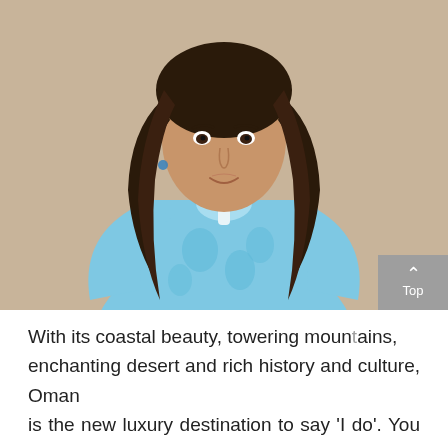[Figure (photo): Portrait photo of a young woman with long dark hair, wearing a light blue embroidered kurta/tunic with floral pattern, against a beige/tan background. She is smiling and looking at the camera.]
With its coastal beauty, towering mountains, enchanting desert and rich history and culture, Oman is the new luxury destination to say 'I do'. You can plan